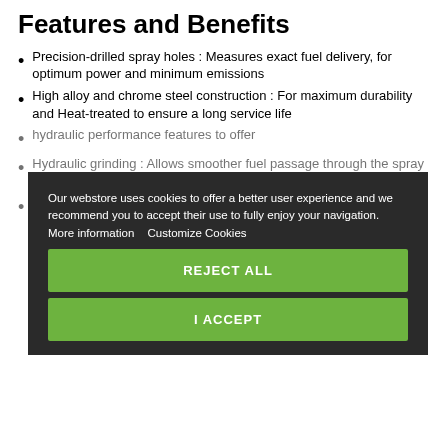Features and Benefits
Precision-drilled spray holes : Measures exact fuel delivery, for optimum power and minimum emissions
High alloy and chrome steel construction : For maximum durability and Heat-treated to ensure a long service life
[partially obscured] hydraulic performance [partially obscured]
Hydraulic grinding : Allows smoother fuel passage through the spray hole to ensure that the nozzle operates at peak [partially obscured]
[partially obscured]
[Figure (other): Cookie consent overlay with dark background, green REJECT ALL and I ACCEPT buttons, and text about cookies policy]
References
[Figure (logo): Bosch logo circle with H symbol, and BOSCH red wordmark]
Bosch injector nozzle, original new part made in Germany by Bosch Germany. Parts sold individually.
| Bosch reference | Stamping | Compatible on |
| --- | --- | --- |